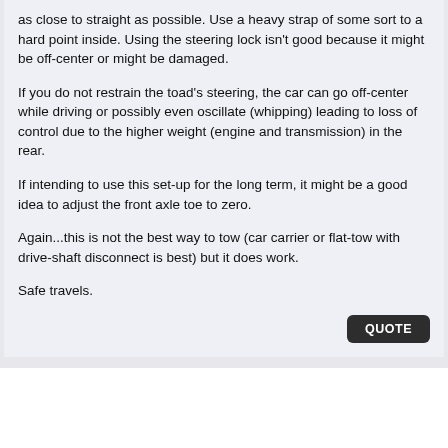as close to straight as possible. Use a heavy strap of some sort to a hard point inside. Using the steering lock isn't good because it might be off-center or might be damaged.
If you do not restrain the toad's steering, the car can go off-center while driving or possibly even oscillate (whipping) leading to loss of control due to the higher weight (engine and transmission) in the rear.
If intending to use this set-up for the long term, it might be a good idea to adjust the front axle toe to zero.
Again...this is not the best way to tow (car carrier or flat-tow with drive-shaft disconnect is best) but it does work.
Safe travels.